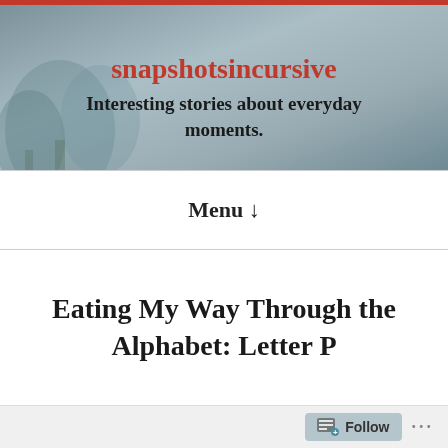[Figure (illustration): Blog header banner with muted gray-blue outdoor/nature background photo and overlaid text showing blog name and tagline]
snapshotsincursive
Interesting stories about everyday moments.
Menu ↓
Eating My Way Through the Alphabet: Letter P
Follow ...